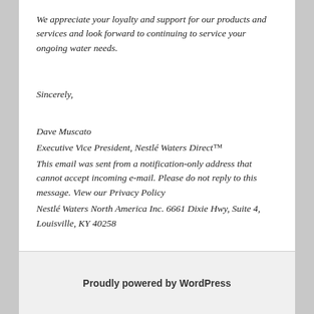We appreciate your loyalty and support for our products and services and look forward to continuing to service your ongoing water needs.
Sincerely,
Dave Muscato
Executive Vice President, Nestlé Waters Direct™
This email was sent from a notification-only address that cannot accept incoming e-mail. Please do not reply to this message. View our Privacy Policy
Nestlé Waters North America Inc. 6661 Dixie Hwy, Suite 4, Louisville, KY 40258
This entry was posted in Entertainment by Thong Tran. Bookmark the permalink.
Proudly powered by WordPress